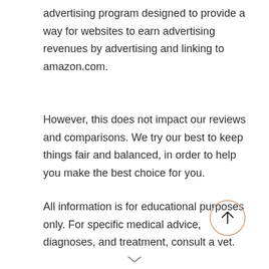advertising program designed to provide a way for websites to earn advertising revenues by advertising and linking to amazon.com.
However, this does not impact our reviews and comparisons. We try our best to keep things fair and balanced, in order to help you make the best choice for you.
All information is for educational purposes only. For specific medical advice, diagnoses, and treatment, consult a vet.
[Figure (illustration): A circular button with a salmon/peach border containing an upward-pointing arrow icon, used as a scroll-to-top button. Below the main content area, a small chevron/down arrow is partially visible at the very bottom center.]